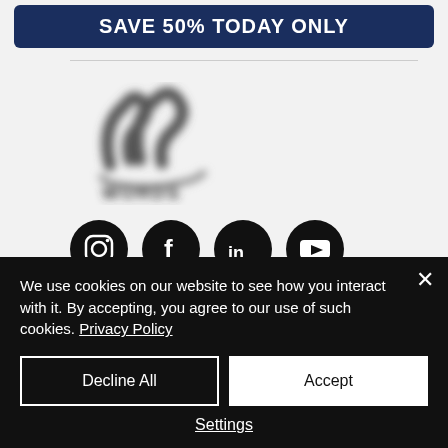[Figure (other): Dark blue button with white bold text reading SAVE 50% TODAY ONLY]
[Figure (logo): Blurred/redacted company logo with stylized lettering]
[Figure (infographic): Four black circular social media icons: Instagram, Facebook, LinkedIn, YouTube]
PRIVACY POLICY
TERMS and CONDITIONS
REFUND POLICY (partially visible)
We use cookies on our website to see how you interact with it. By accepting, you agree to our use of such cookies. Privacy Policy
Decline All
Accept
Settings